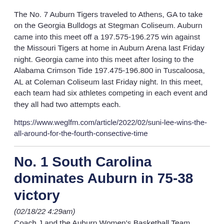The No. 7 Auburn Tigers traveled to Athens, GA to take on the Georgia Bulldogs at Stegman Coliseum. Auburn came into this meet off a 197.575-196.275 win against the Missouri Tigers at home in Auburn Arena last Friday night. Georgia came into this meet after losing to the Alabama Crimson Tide 197.475-196.800 in Tuscaloosa, AL at Coleman Coliseum last Friday night. In this meet, each team had six athletes competing in each event and they all had two attempts each.
https://www.weglfm.com/article/2022/02/suni-lee-wins-the-all-around-for-the-fourth-consective-time
No. 1 South Carolina dominates Auburn in 75-38 victory
(02/18/22 4:29am)
Coach J and the Auburn Women's Basketball Team